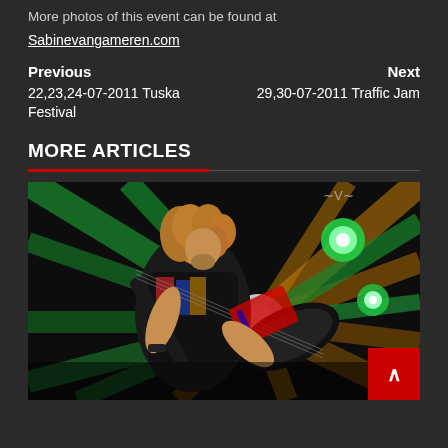More photos of this event can be found at
Sabinevangameren.com
Previous
Next
22,23,24-07-2011 Tuska Festival
29,30-07-2011 Traffic Jam
MORE ARTICLES
[Figure (photo): Concert photo of a curly-haired guitarist playing an electric guitar on stage with green and orange stage lighting in the background. A red back-to-top button with upward arrow is overlaid in the bottom right corner.]